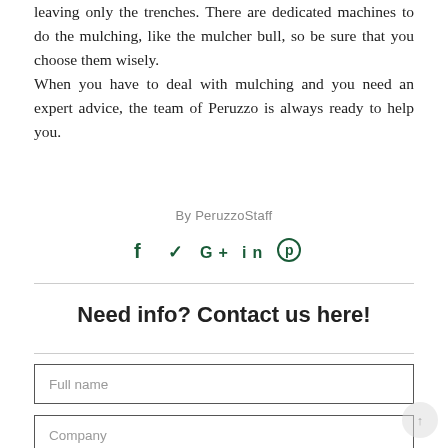leaving only the trenches. There are dedicated machines to do the mulching, like the mulcher bull, so be sure that you choose them wisely.
When you have to deal with mulching and you need an expert advice, the team of Peruzzo is always ready to help you.
By PeruzzoStaff
[Figure (other): Social media sharing icons: f (Facebook), Twitter bird, G+, in (LinkedIn), Pinterest circle]
Need info? Contact us here!
Full name
Company